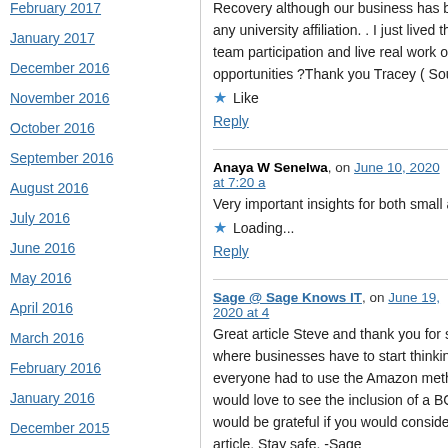February 2017
January 2017
December 2016
November 2016
October 2016
September 2016
August 2016
July 2016
June 2016
May 2016
April 2016
March 2016
February 2016
January 2016
December 2015
November 2015
October 2015
Recovery although our business has been any university affiliation. . I just lived the wa team participation and live real work on you opportunities ?Thank you Tracey ( South Af
Like
Reply
Anaya W Senelwa, on June 10, 2020 at 7:20 a
Very important insights for both small and la
Loading...
Reply
Sage @ Sage Knows IT, on June 19, 2020 at 4
Great article Steve and thank you for sharin where businesses have to start thinking out everyone had to use the Amazon method. I would love to see the inclusion of a BCP. I h would be grateful if you would consider usin article. Stay safe. -Sage
Loading...
Reply